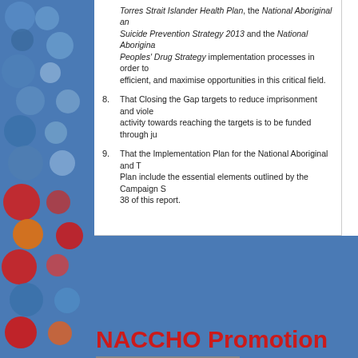Torres Strait Islander Health Plan, the National Aboriginal and Torres Strait Islander Suicide Prevention Strategy 2013 and the National Aboriginal and Torres Strait Islander Peoples' Drug Strategy implementation processes in order to make this work more efficient, and maximise opportunities in this critical field.
8. That Closing the Gap targets to reduce imprisonment and violence are set, and that activity towards reaching the targets is to be funded through justice reinvestment.
9. That the Implementation Plan for the National Aboriginal and Torres Strait Islander Health Plan include the essential elements outlined by the Campaign Steering Committee on page 38 of this report.
NACCHO Promotion